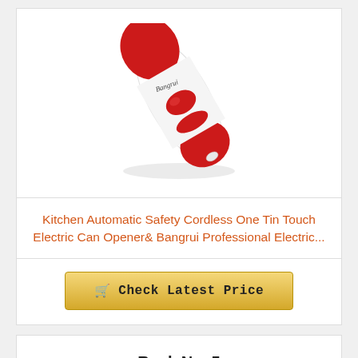[Figure (photo): Red and white electric can opener device, elongated oval shape with a red button, positioned diagonally]
Kitchen Automatic Safety Cordless One Tin Touch Electric Can Opener& Bangrui Professional Electric...
Check Latest Price
Rank No. 5